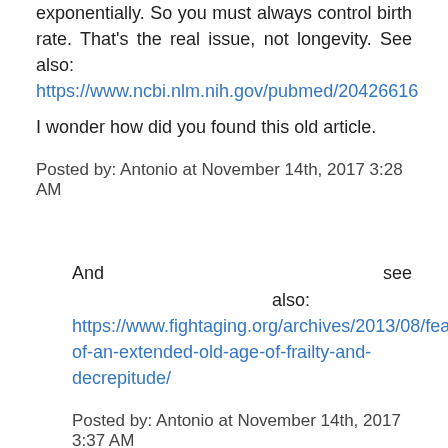exponentially. So you must always control birth rate. That's the real issue, not longevity. See also: https://www.ncbi.nlm.nih.gov/pubmed/20426616
I wonder how did you found this old article.
Posted by: Antonio at November 14th, 2017 3:28 AM
And see also: https://www.fightaging.org/archives/2013/08/fear-of-an-extended-old-age-of-frailty-and-decrepitude/
Posted by: Antonio at November 14th, 2017 3:37 AM
Good arguments!
I did my own thinking on this issue, before finding this article, and posted them here: